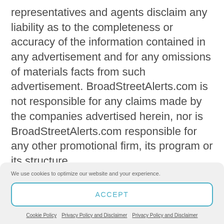representatives and agents disclaim any liability as to the completeness or accuracy of the information contained in any advertisement and for any omissions of materials facts from such advertisement. BroadStreetAlerts.com is not responsible for any claims made by the companies advertised herein, nor is BroadStreetAlerts.com responsible for any other promotional firm, its program or its structure.
We use cookies to optimize our website and your experience.
ACCEPT
Cookie Policy   Privacy Policy and Disclaimer   Privacy Policy and Disclaimer